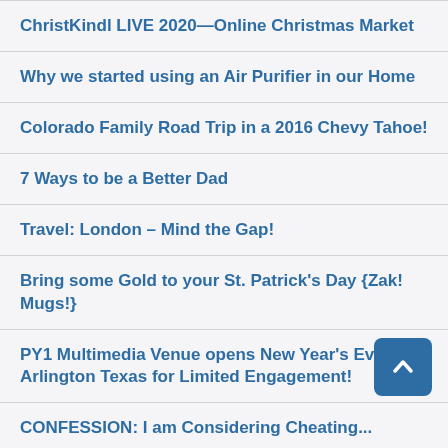ChristKindl LIVE 2020—Online Christmas Market
Why we started using an Air Purifier in our Home
Colorado Family Road Trip in a 2016 Chevy Tahoe!
7 Ways to be a Better Dad
Travel: London – Mind the Gap!
Bring some Gold to your St. Patrick's Day {Zak! Mugs!}
PY1 Multimedia Venue opens New Year's Eve in Arlington Texas for Limited Engagement!
CONFESSION: I am Considering Cheating...
Too Often We are Scared
A Dad's Guide to the Perfect Halloween Cocktail